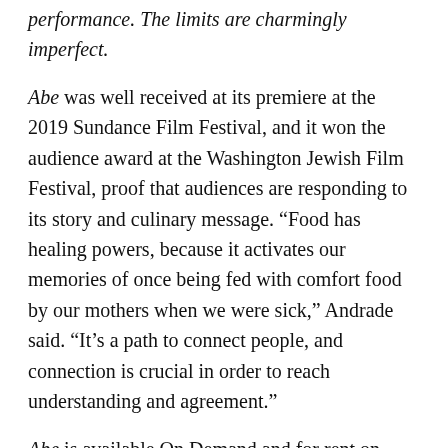performance. The limits are charmingly imperfect.
Abe was well received at its premiere at the 2019 Sundance Film Festival, and it won the audience award at the Washington Jewish Film Festival, proof that audiences are responding to its story and culinary message. “Food has healing powers, because it activates our memories of once being fed with comfort food by our mothers when we were sick,” Andrade said. “It’s a path to connect people, and connection is crucial in order to reach understanding and agreement.”
Abe is available On Demand and for rent on Amazon, GooglePlay, and YouTube.
Fattoush Salad with Matzah was one of the recipes developed for the film. Recipe follows so you can try it at h